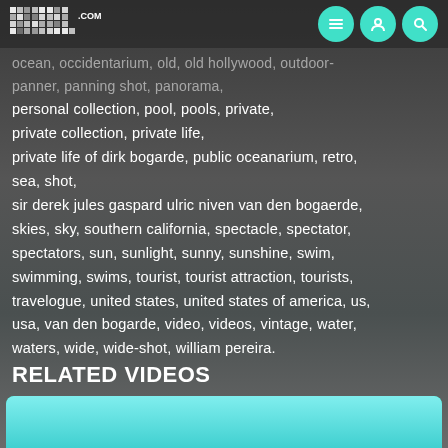R3EL.com header with navigation icons
ocean, occidentarium, old, old hollywood, outdoor, panner, panning shot, panorama, personal collection, pool, pools, private, private collection, private life, private life of dirk bogarde, public oceanarium, retro, sea, shot, sir derek jules gaspard ulric niven van den bogaerde, skies, sky, southern california, spectacle, spectator, spectators, sun, sunlight, sunny, sunshine, swim, swimming, swims, tourist, tourist attraction, tourists, travelogue, united states, united states of america, us, usa, van den bogarde, video, videos, vintage, water, waters, wide, wide-shot, william pereira.
RELATED VIDEOS
[Figure (screenshot): Teal/cyan colored thumbnail bar at the bottom of the page]